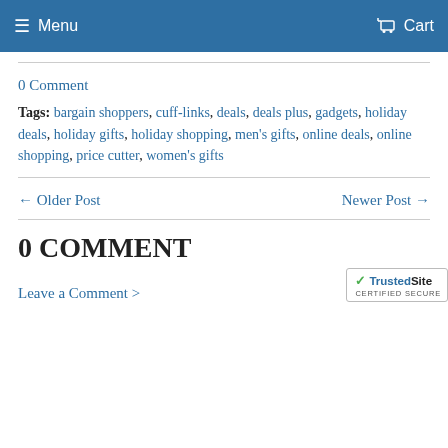Menu   Cart
0 Comment
Tags: bargain shoppers, cuff-links, deals, deals plus, gadgets, holiday deals, holiday gifts, holiday shopping, men's gifts, online deals, online shopping, price cutter, women's gifts
← Older Post   Newer Post →
0 COMMENT
Leave a Comment >
[Figure (logo): TrustedSite CERTIFIED SECURE badge]